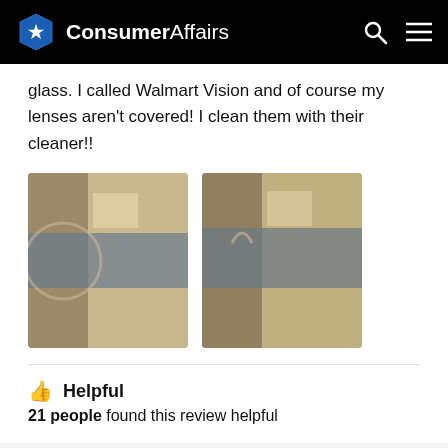ConsumerAffairs
glass. I called Walmart Vision and of course my lenses aren't covered! I clean them with their cleaner!!
[Figure (photo): Two photos of glasses/lenses showing damage or condition]
👍 Helpful
21 people found this review helpful
[Figure (other): 1 out of 5 stars rating (one filled star, four empty stars)]
Reviewer name and location (partially visible)